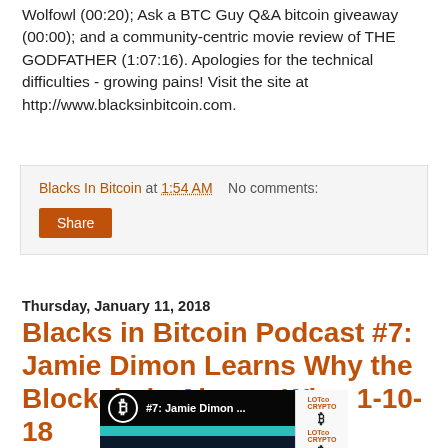Wolfowl (00:20); Ask a BTC Guy Q&A bitcoin giveaway (00:00); and a community-centric movie review of THE GODFATHER (1:07:16). Apologies for the technical difficulties - growing pains! Visit the site at http://www.blacksinbitcoin.com.
Blacks In Bitcoin at 1:54 AM   No comments:
Share
Thursday, January 11, 2018
Blacks in Bitcoin Podcast #7: Jamie Dimon Learns Why the Blockchain Always Wins 1-10-18
[Figure (screenshot): YouTube video thumbnail for podcast episode #7: Jamie Dimon Learns Why the Blockchain Always Wins, showing Bitcoin logo, teal band, YouTube play button, and sidebar with crypto logos]